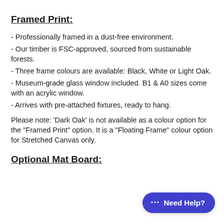Framed Print:
- Professionally framed in a dust-free environment.
- Our timber is FSC-approved, sourced from sustainable forests.
- Three frame colours are available: Black, White or Light Oak.
- Museum-grade glass window included. B1 & A0 sizes come with an acrylic window.
- Arrives with pre-attached fixtures, ready to hang.
Please note: 'Dark Oak' is not available as a colour option for the "Framed Print" option. It is a "Floating Frame" colour option for Stretched Canvas only.
Optional Mat Board: